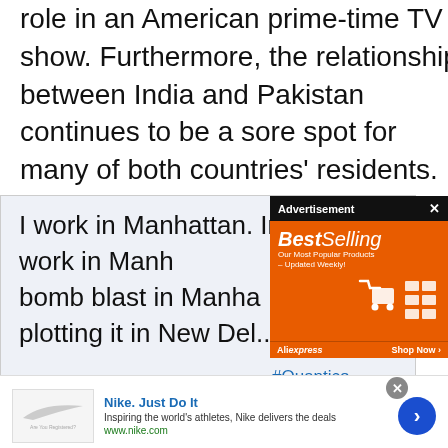role in an American prime-time TV show. Furthermore, the relationship between India and Pakistan continues to be a sore spot for many of both countries' residents.
I work in Manhattan. Indians work in Manhattan. bomb blast in Manhattan plotting it in New Delhi... #Quantico
[Figure (screenshot): AliExpress BestSelling advertisement overlay with orange background, shopping cart illustration, and 'Shop Now' button]
[Figure (screenshot): Nike 'Just Do It' advertisement banner with logo, text 'Inspiring the world's athletes, Nike delivers the deals', www.nike.com, and blue arrow button]